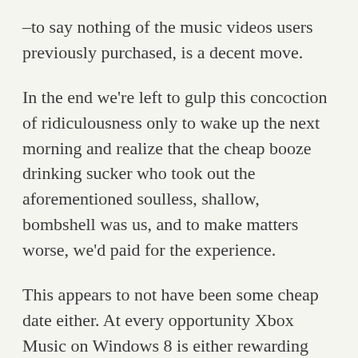–to say nothing of the music videos users previously purchased, is a decent move.
In the end we're left to gulp this concoction of ridiculousness only to wake up the next morning and realize that the cheap booze drinking sucker who took out the aforementioned soulless, shallow, bombshell was us, and to make matters worse, we'd paid for the experience.
This appears to not have been some cheap date either. At every opportunity Xbox Music on Windows 8 is either rewarding you for having an Xbox Music Pass, punishing you for not having an Xbox Music Pass, or reminding you that you don't yet have an Xbox Music Pass...